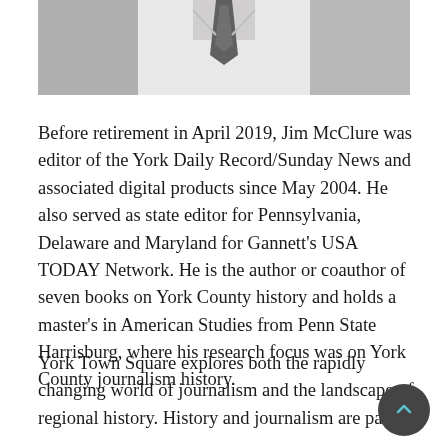[Figure (photo): Black and white photo of a man in a shirt and tie, cropped to show chest/neck area]
Before retirement in April 2019, Jim McClure was editor of the York Daily Record/Sunday News and associated digital products since May 2004. He also served as state editor for Pennsylvania, Delaware and Maryland for Gannett's USA TODAY Network. He is the author or coauthor of seven books on York County history and holds a master's in American Studies from Penn State Harrisburg, where his research focus was on York County journalism history.
York Town Square explores both the rapidly changing world of journalism and the landscape of regional history. History and journalism are part of